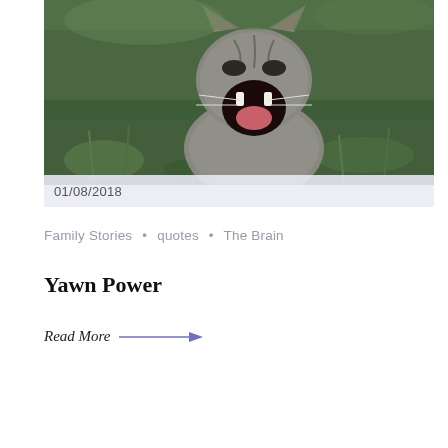[Figure (photo): A tabby cat yawning with mouth wide open, sitting in green grass outdoors]
01/08/2018
Family Stories • quotes • The Brain
Yawn Power
Read More →